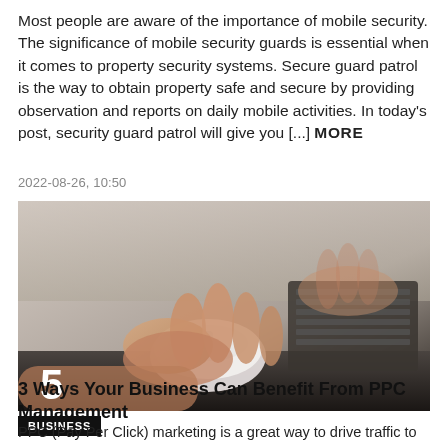Most people are aware of the importance of mobile security. The significance of mobile security guards is essential when it comes to property security systems. Secure guard patrol is the way to obtain property safe and secure by providing observation and reports on daily mobile activities. In today's post, security guard patrol will give you [...] MORE
2022-08-26, 10:50
[Figure (photo): Close-up photo of hands using a computer mouse on a desk, with a dark keyboard visible in the background. The image is in muted, desaturated tones. A large number '5' appears in white bold text in the bottom-left corner.]
BUSINESS
3 Ways Your Business Can Benefit From PPC Management
PPC (Pay Per Click) marketing is a great way to drive traffic to your